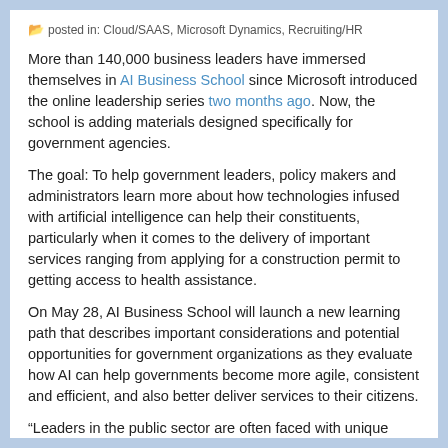posted in: Cloud/SAAS, Microsoft Dynamics, Recruiting/HR
More than 140,000 business leaders have immersed themselves in AI Business School since Microsoft introduced the online leadership series two months ago. Now, the school is adding materials designed specifically for government agencies.
The goal: To help government leaders, policy makers and administrators learn more about how technologies infused with artificial intelligence can help their constituents, particularly when it comes to the delivery of important services ranging from applying for a construction permit to getting access to health assistance.
On May 28, AI Business School will launch a new learning path that describes important considerations and potential opportunities for government organizations as they evaluate how AI can help governments become more agile, consistent and efficient, and also better deliver services to their citizens.
“Leaders in the public sector are often faced with unique challenges when considering how to apply AI to improve the speed and quality of the government services they offer their